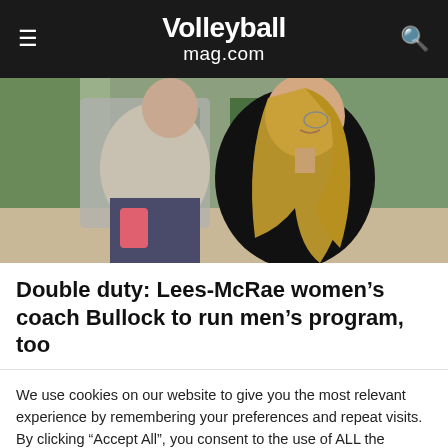Volleyballmag.com
[Figure (photo): Two volleyball coaches sitting on a gym bench — a woman with long blonde hair wearing a black top and a man in a grey shirt, in front of a green gym wall]
Double duty: Lees-McRae women's coach Bullock to run men's program, too
We use cookies on our website to give you the most relevant experience by remembering your preferences and repeat visits. By clicking "Accept All", you consent to the use of ALL the cookies. However, you may visit "Cookie Settings" to provide a controlled consent.